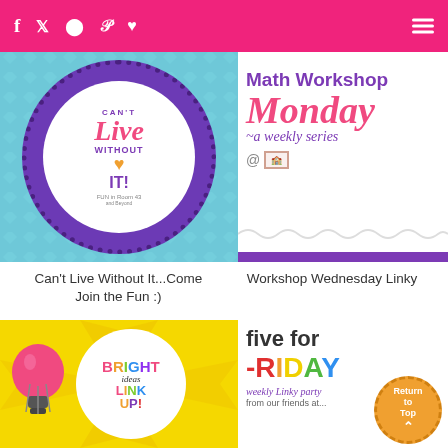Social media icons (f, Twitter, Instagram, Pinterest, heart) | hamburger menu
[Figure (illustration): Can't Live Without It badge — purple dotted circle with white inner circle, orange heart, purple and pink text reading CAN'T / Live / WITHOUT / IT! / FUN in Room 43 and Beyond]
[Figure (illustration): Math Workshop Monday ~a weekly series @ [badge icon] — colorful teacher blog graphic with purple and pink text on white background with purple stripe at bottom]
Can't Live Without It...Come Join the Fun :)
Workshop Wednesday Linky
[Figure (illustration): Bright Ideas Link Up! — colorful text on yellow sunburst background with white circle and pink lightbulb illustration]
[Figure (illustration): five for -FRIDAY weekly linky party — colorful handwritten-style text on white background with Return to Top orange circle badge]